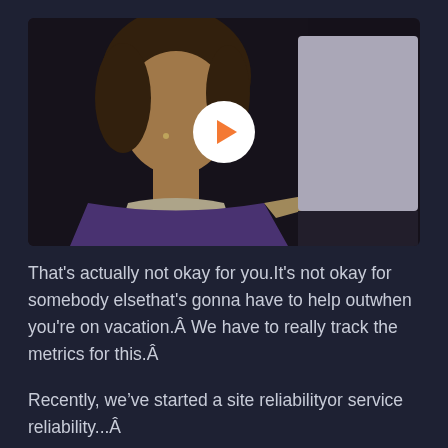[Figure (screenshot): A video thumbnail showing a man in a purple sweater with a microphone on his face, gesturing toward a presentation screen on the right. A white circular play button with an orange play arrow is centered over the image.]
That's actually not okay for you.It's not okay for somebody elsethat's gonna have to help outwhen you're on vacation.Â We have to really track the metrics for this.Â
Recently, we’ve started a site reliabilityor service reliability... Â SRE...